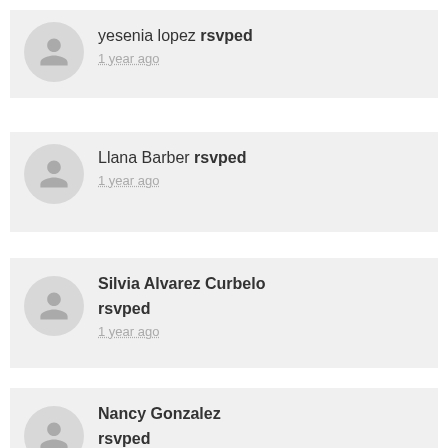yesenia lopez rsvped
1 year ago
Llana Barber rsvped
1 year ago
Silvia Alvarez Curbelo rsvped
1 year ago
Nancy Gonzalez rsvped
1 year ago